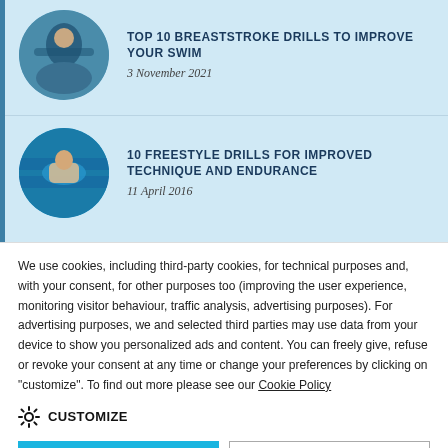[Figure (photo): Circular thumbnail of swimmer at pool, breaststroke article]
TOP 10 BREASTSTROKE DRILLS TO IMPROVE YOUR SWIM
3 November 2021
[Figure (photo): Circular thumbnail of swimmer underwater, freestyle drills article]
10 FREESTYLE DRILLS FOR IMPROVED TECHNIQUE AND ENDURANCE
11 April 2016
We use cookies, including third-party cookies, for technical purposes and, with your consent, for other purposes too (improving the user experience, monitoring visitor behaviour, traffic analysis, advertising purposes). For advertising purposes, we and selected third parties may use data from your device to show you personalized ads and content. You can freely give, refuse or revoke your consent at any time or change your preferences by clicking on "customize". To find out more please see our Cookie Policy
CUSTOMIZE
SOUNDS GOOD!
DECLINE ALL